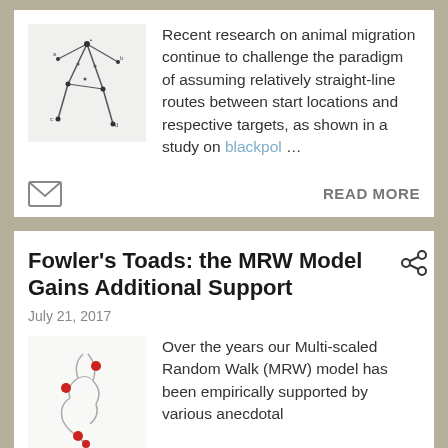[Figure (illustration): Scientific diagram showing animal migration routes as geometric lines and points on a white background]
Recent research on animal migration continue to challenge the paradigm of assuming relatively straight-line routes between start locations and respective targets, as shown in a study on blackpol…
READ MORE
Fowler's Toads: the MRW Model Gains Additional Support
July 21, 2017
[Figure (illustration): Scientific diagram of toad movement paths with red dots marking locations on a white background]
Over the years our Multi-scaled Random Walk (MRW) model has been empirically supported by various anecdotal